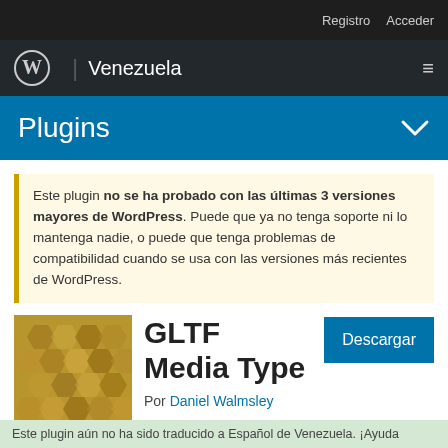Registro   Acceder
WordPress | Venezuela
Plugins
Este plugin no se ha probado con las últimas 3 versiones mayores de WordPress. Puede que ya no tenga soporte ni lo mantenga nadie, o puede que tenga problemas de compatibilidad cuando se usa con las versiones más recientes de WordPress.
[Figure (other): GLTF Media Type plugin thumbnail with hexagonal pattern in golden/brown tones]
GLTF Media Type
Por Daniel Walmsley
Descargar
Este plugin aún no ha sido traducido a Español de Venezuela. ¡Ayuda